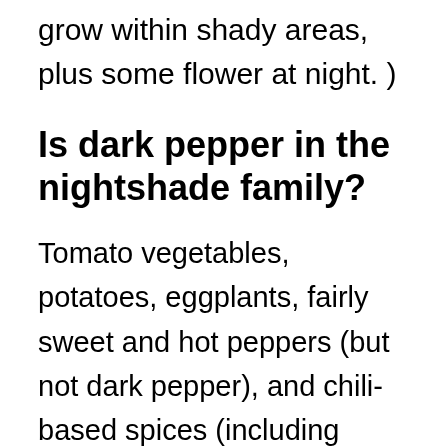grow within shady areas, plus some flower at night. )
Is dark pepper in the nightshade family?
Tomato vegetables, potatoes, eggplants, fairly sweet and hot peppers (but not dark pepper), and chili-based spices (including paprika) all come from plant life which are members from the nightshade family. Nightshades can be problematic for many individuals due to their lectin, saponin and/or capsaicin content material.